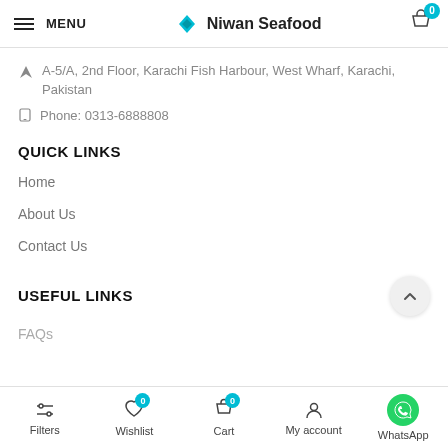MENU | Niwan Seafood | Cart 0
A-5/A, 2nd Floor, Karachi Fish Harbour, West Wharf, Karachi, Pakistan
Phone: 0313-6888808
QUICK LINKS
Home
About Us
Contact Us
USEFUL LINKS
FAQs
Filters | Wishlist 0 | Cart 0 | My account | WhatsApp